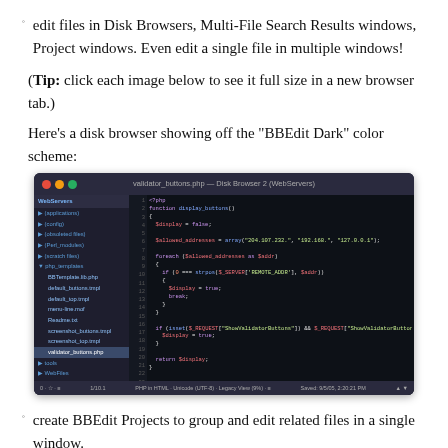edit files in Disk Browsers, Multi-File Search Results windows, Project windows. Even edit a single file in multiple windows!
(Tip: click each image below to see it full size in a new browser tab.)
Here’s a disk browser showing off the “BBEdit Dark” color scheme:
[Figure (screenshot): A macOS BBEdit Disk Browser window showing PHP code with the BBEdit Dark color scheme. The window has a sidebar with a file tree on the left showing WebServers directory and PHP template files, and a code editor on the right displaying PHP code with syntax highlighting on a dark background.]
create BBEdit Projects to group and edit related files in a single window.